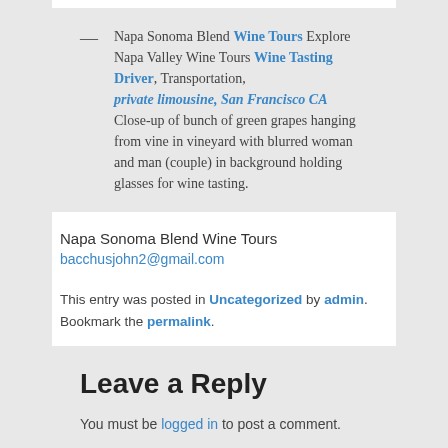Napa Sonoma Blend Wine Tours Explore Napa Valley Wine Tours Wine Tasting Driver, Transportation, private limousine, San Francisco CA
Close-up of bunch of green grapes hanging from vine in vineyard with blurred woman and man (couple) in background holding glasses for wine tasting.
Napa Sonoma Blend Wine Tours
bacchusjohn2@gmail.com
This entry was posted in Uncategorized by admin. Bookmark the permalink.
Leave a Reply
You must be logged in to post a comment.